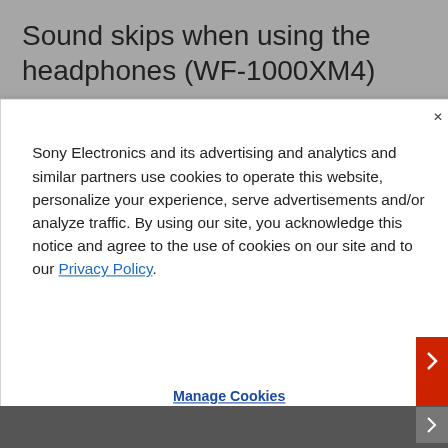Sound skips when using the headphones (WF-1000XM4)
The issue is not resolved
The headphones may be malfunctioning and require
Sony Electronics and its advertising and analytics and similar partners use cookies to operate this website, personalize your experience, serve advertisements and/or analyze traffic. By using our site, you acknowledge this notice and agree to the use of cookies on our site and to our Privacy Policy.
Manage Cookies